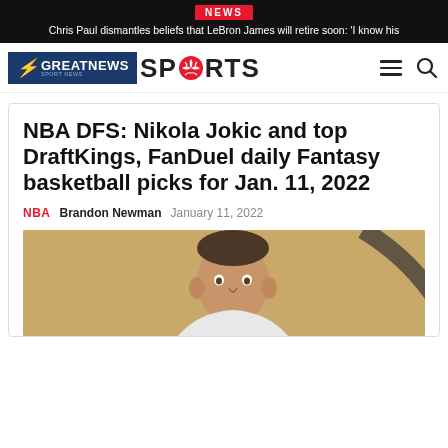NEWS
Chris Paul dismantles beliefs that LeBron James will retire soon: 'I know his
[Figure (logo): GreatNews Sports logo with blue background, red lightning bolt icon, and soccer ball replacing the 'O' in SPORTS]
NBA DFS: Nikola Jokic and top DraftKings, FanDuel daily Fantasy basketball picks for Jan. 11, 2022
NBA   Brandon Newman   January 11, 2022
[Figure (photo): Close-up photo of Nikola Jokic, a basketball player with short hair, on a basketball court with a ball visible in the background]